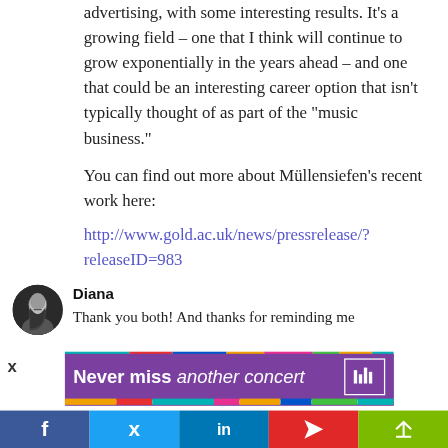advertising, with some interesting results. It's a growing field – one that I think will continue to grow exponentially in the years ahead – and one that could be an interesting career option that isn't typically thought of as part of the "music business."
You can find out more about Müllensiefen's recent work here:
http://www.gold.ac.uk/news/pressrelease/?releaseID=983
Diana
Thank you both! And thanks for reminding me
[Figure (other): Advertisement banner: 'Never miss another concert' with Bandsintown icon, overlaid on colorful strip. X close button visible.]
[Figure (other): Social sharing bar with Facebook, Twitter, LinkedIn, Flipboard, and share buttons.]